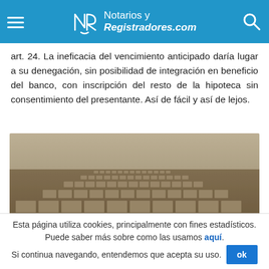Notarios y Registradores.com
art. 24. La ineficacia del vencimiento anticipado daría lugar a su denegación, sin posibilidad de integración en beneficio del banco, con inscripción del resto de la hipoteca sin consentimiento del presentante. Así de fácil y así de lejos.
[Figure (photo): Aerial perspective photo of a vast repetitive architectural maze-like structure made of concrete blocks, with sepia tone.]
Esta página utiliza cookies, principalmente con fines estadísticos. Puede saber más sobre como las usamos aquí. Si continua navegando, entendemos que acepta su uso. ok